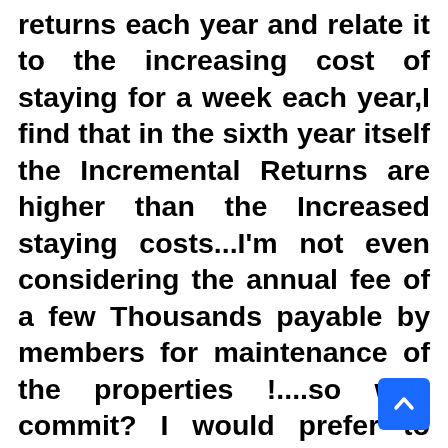returns each year and relate it to the increasing cost of staying for a week each year,I find that in the sixth year itself the Incremental Returns are higher than the Increased staying costs...I'm not even considering the annual fee of a few Thousands payable by members for maintenance of the properties !....so why commit? I would prefer to keep my holiday options open...even if I want to holiday at MHRIL,I can do that without being a Member...Ofourse,most will not see it this way as they will not practically invest Rs 25 lakhs at 10% pa for